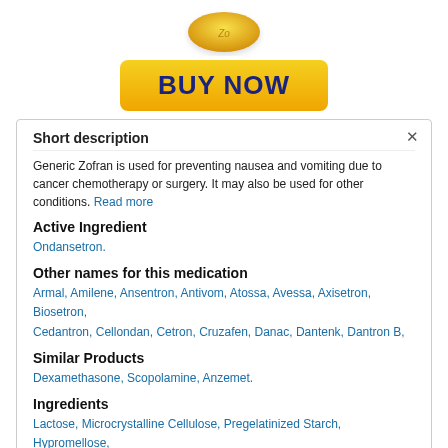[Figure (illustration): Yellow oval pill with 'Zo' text on it, floating above the buy button]
[Figure (other): Yellow 'BUY NOW' button with dark blue bold text]
Short description
Generic Zofran is used for preventing nausea and vomiting due to cancer chemotherapy or surgery. It may also be used for other conditions. Read more
Active Ingredient
Ondansetron.
Other names for this medication
Armal, Amilene, Ansentron, Antivom, Atossa, Avessa, Axisetron, Biosetron, Cedantron, Cellondan, Cetron, Cruzafen, Danac, Dantenk, Dantron B,
Similar Products
Dexamethasone, Scopolamine, Anzemet.
Ingredients
Lactose, Microcrystalline Cellulose, Pregelatinized Starch, Hypromellose,